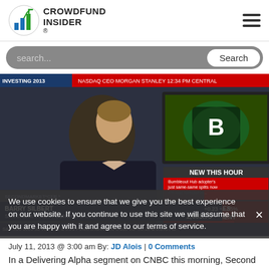CROWDFUND INSIDER
[Figure (screenshot): Search bar with dark rounded rectangle background, placeholder text 'search...' and white 'Search' button on right]
[Figure (photo): Screenshot of a CNBC TV segment showing a man being interviewed, with financial tickers and 'NEW THIS HOUR' graphic on screen. Lower-third identifies subject related to SecondMarket founder/CEO.]
We use cookies to ensure that we give you the best experience on our website. If you continue to use this site we will assume that you are happy with it and agree to our terms of service.
July 11, 2013 @ 3:00 am By: JD Alois | 0 Comments
In a Delivering Alpha segment on CNBC this morning, Second Market CEO Barry Silbert commented on the